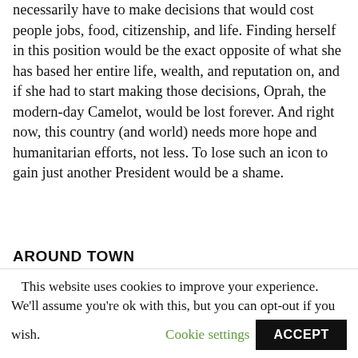think the idea is naive. As President, Oprah would necessarily have to make decisions that would cost people jobs, food, citizenship, and life. Finding herself in this position would be the exact opposite of what she has based her entire life, wealth, and reputation on, and if she had to start making those decisions, Oprah, the modern-day Camelot, would be lost forever. And right now, this country (and world) needs more hope and humanitarian efforts, not less. To lose such an icon to gain just another President would be a shame.
AROUND TOWN
This website uses cookies to improve your experience. We'll assume you're ok with this, but you can opt-out if you wish. Cookie settings ACCEPT